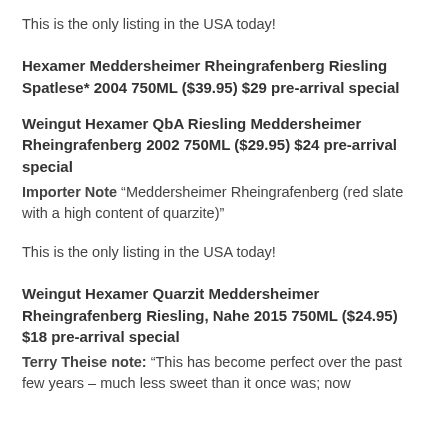This is the only listing in the USA today!
Hexamer Meddersheimer Rheingrafenberg Riesling Spatlese* 2004 750ML ($39.95) $29 pre-arrival special
Weingut Hexamer QbA Riesling Meddersheimer Rheingrafenberg 2002 750ML ($29.95) $24 pre-arrival special
Importer Note “Meddersheimer Rheingrafenberg (red slate with a high content of quarzite)”
This is the only listing in the USA today!
Weingut Hexamer Quarzit Meddersheimer Rheingrafenberg Riesling, Nahe 2015 750ML ($24.95) $18 pre-arrival special
Terry Theise note: “This has become perfect over the past few years – much less sweet than it once was; now